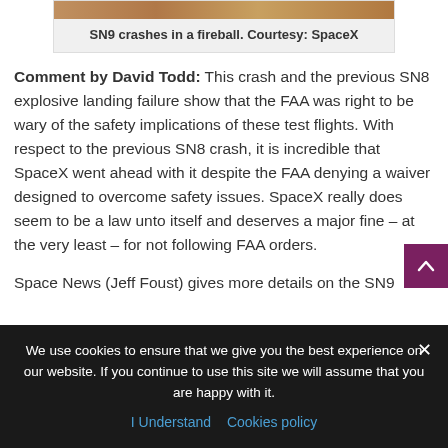[Figure (photo): Bottom portion of SN9 crash fireball photo, showing orange/brown tones]
SN9 crashes in a fireball. Courtesy: SpaceX
Comment by David Todd: This crash and the previous SN8 explosive landing failure show that the FAA was right to be wary of the safety implications of these test flights. With respect to the previous SN8 crash, it is incredible that SpaceX went ahead with it despite the FAA denying a waiver designed to overcome safety issues. SpaceX really does seem to be a law unto itself and deserves a major fine – at the very least – for not following FAA orders.
Space News (Jeff Foust) gives more details on the SN9
We use cookies to ensure that we give you the best experience on our website. If you continue to use this site we will assume that you are happy with it.
I Understand   Cookies policy